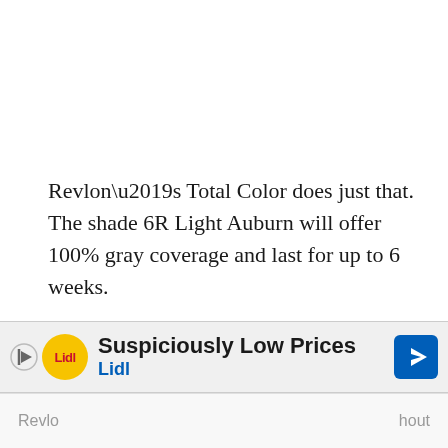Revlon’s Total Color does just that. The shade 6R Light Auburn will offer 100% gray coverage and last for up to 6 weeks.
This color, in particular, is infused with Cannabis Sativa Hemp Oil to offer hydration, nourishment, and soothe the scalp.
In addition, this kit includes a developer, the cream colorant, conditioning gloss, and instructions to help achieve a seamless application.
[Figure (other): Lidl advertisement banner: Suspiciously Low Prices, Lidl]
Revlo... hout